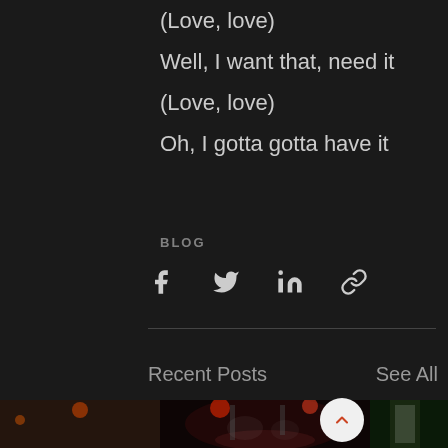(Love, love)
Well, I want that, need it
(Love, love)
Oh, I gotta gotta have it
BLOG
[Figure (infographic): Social share icons: Facebook, Twitter, LinkedIn, Link/copy]
Recent Posts
See All
[Figure (photo): Three photos in a row — left partial (concert crowd), center (two rock guitarists on stage with stage lighting), right partial (person in white against green background)]